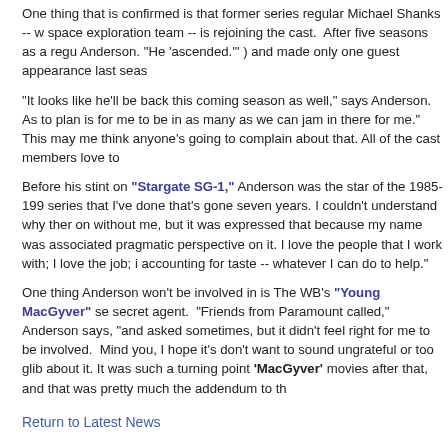One thing that is confirmed is that former series regular Michael Shanks -- w space exploration team -- is rejoining the cast.  After five seasons as a regu Anderson. "He 'ascended.'" ) and made only one guest appearance last seas
"It looks like he'll be back this coming season as well," says Anderson.  As to plan is for me to be in as many as we can jam in there for me."  This may me think anyone's going to complain about that. All of the cast members love to
Before his stint on "Stargate SG-1," Anderson was the star of the 1985-199 series that I've done that's gone seven years. I couldn't understand why ther on without me, but it was expressed that because my name was associated pragmatic perspective on it. I love the people that I work with; I love the job; i accounting for taste -- whatever I can do to help."
One thing Anderson won't be involved in is The WB's "Young MacGyver" se secret agent.  "Friends from Paramount called," Anderson says, "and asked sometimes, but it didn't feel right for me to be involved.  Mind you, I hope it's don't want to sound ungrateful or too glib about it. It was such a turning point 'MacGyver' movies after that, and that was pretty much the addendum to th
Return to Latest News
About Solutions
Since 2002, an independent Stargate site by fans, for fans. Contact us. Read our copyright statement.
Follow Us